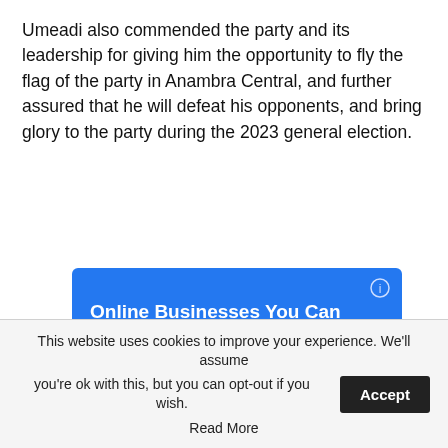Umeadi also commended the party and its leadership for giving him the opportunity to fly the flag of the party in Anambra Central, and further assured that he will defeat his opponents, and bring glory to the party during the 2023 general election.
[Figure (infographic): Advertisement box with blue upper section titled 'Online Businesses You Can Start' and dark lower section with text 'Looking for an online business you can start? This list will help you']
This website uses cookies to improve your experience. We'll assume you're ok with this, but you can opt-out if you wish. Accept Read More